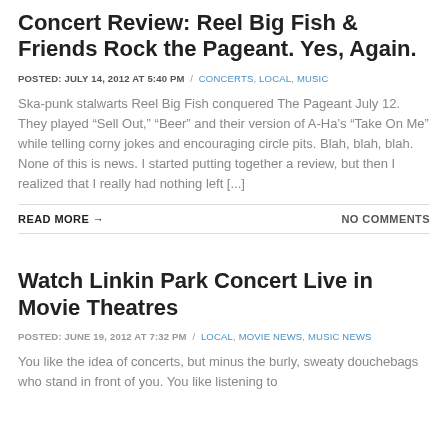Concert Review: Reel Big Fish & Friends Rock the Pageant. Yes, Again.
POSTED: JULY 14, 2012 AT 5:40 PM / CONCERTS, LOCAL, MUSIC
Ska-punk stalwarts Reel Big Fish conquered The Pageant July 12. They played “Sell Out,” “Beer” and their version of A-Ha’s “Take On Me” while telling corny jokes and encouraging circle pits. Blah, blah, blah. None of this is news. I started putting together a review, but then I realized that I really had nothing left [...]
READ MORE →    NO COMMENTS
Watch Linkin Park Concert Live in Movie Theatres
POSTED: JUNE 19, 2012 AT 7:32 PM / LOCAL, MOVIE NEWS, MUSIC NEWS
You like the idea of concerts, but minus the burly, sweaty douchebags who stand in front of you. You like listening to